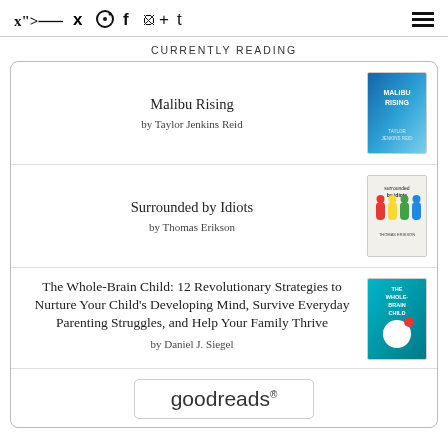Social media icons: Twitter, Instagram, Facebook, Pinterest, +, Tumblr | Hamburger menu
CURRENTLY READING
Malibu Rising
by Taylor Jenkins Reid
Surrounded by Idiots
by Thomas Erikson
The Whole-Brain Child: 12 Revolutionary Strategies to Nurture Your Child's Developing Mind, Survive Everyday Parenting Struggles, and Help Your Family Thrive
by Daniel J. Siegel
[Figure (logo): Goodreads logo button with rounded rectangle border]
goodreads®